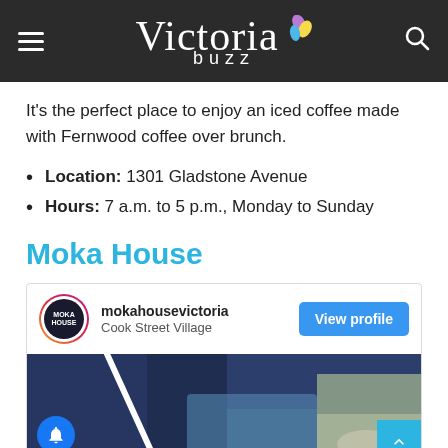Victoria Buzz
It's the perfect place to enjoy an iced coffee made with Fernwood coffee over brunch.
Location: 1301 Gladstone Avenue
Hours: 7 a.m. to 5 p.m., Monday to Sunday
Moka House
[Figure (screenshot): Instagram profile card for mokahousevictoria at Cook Street Village with a View profile button and a photo showing coffee cups on a table outdoors.]